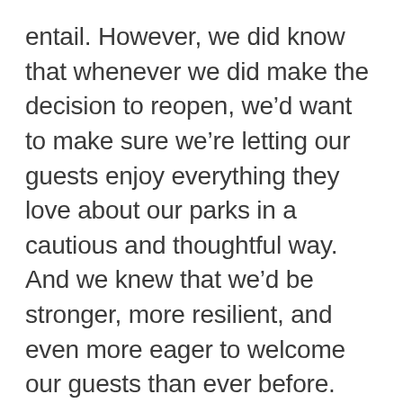entail. However, we did know that whenever we did make the decision to reopen, we'd want to make sure we're letting our guests enjoy everything they love about our parks in a cautious and thoughtful way.  And we knew that we'd be stronger, more resilient, and even more eager to welcome our guests than ever before.
Today we are excited to invite you to see that for yourself. Today Universal Orlando Resort ends its two-and-a-half month period of closure as we begin a phased reopening to the public.